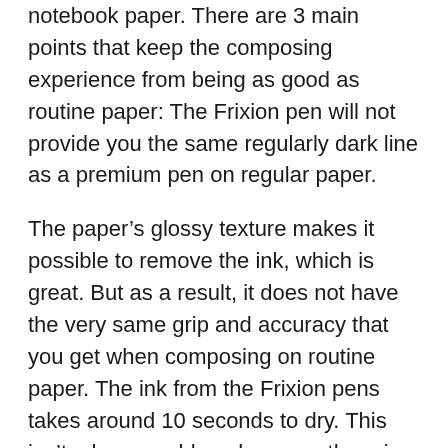notebook paper. There are 3 main points that keep the composing experience from being as good as routine paper: The Frixion pen will not provide you the same regularly dark line as a premium pen on regular paper.
The paper’s glossy texture makes it possible to remove the ink, which is great. But as a result, it does not have the very same grip and accuracy that you get when composing on routine paper. The ink from the Frixion pens takes around 10 seconds to dry. This isn’t a huge problem, however there is a risk of smudging the ink if you brush your arm or turn over the page before the ink dries.